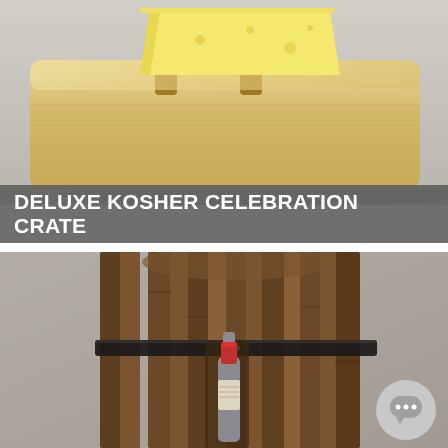[Figure (photo): Close-up photo of a light wood cutting board on a grey surface with cheese on top]
DELUXE KOSHER CELEBRATION CRATE
[Figure (photo): Photo of a dark wooden barrel wine holder with a red-topped wine bottle inserted, on a grey textured background, with a chat bubble icon overlay]